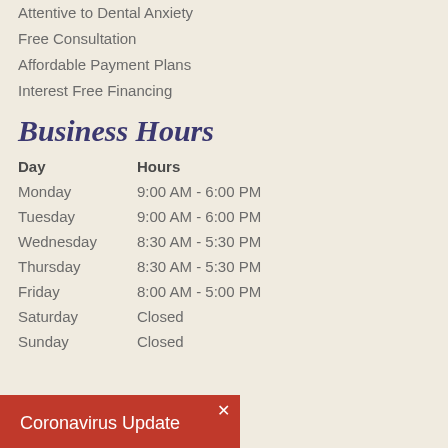Attentive to Dental Anxiety
Free Consultation
Affordable Payment Plans
Interest Free Financing
Business Hours
| Day | Hours |
| --- | --- |
| Monday | 9:00 AM - 6:00 PM |
| Tuesday | 9:00 AM - 6:00 PM |
| Wednesday | 8:30 AM - 5:30 PM |
| Thursday | 8:30 AM - 5:30 PM |
| Friday | 8:00 AM - 5:00 PM |
| Saturday | Closed |
| Sunday | Closed |
Coronavirus Update